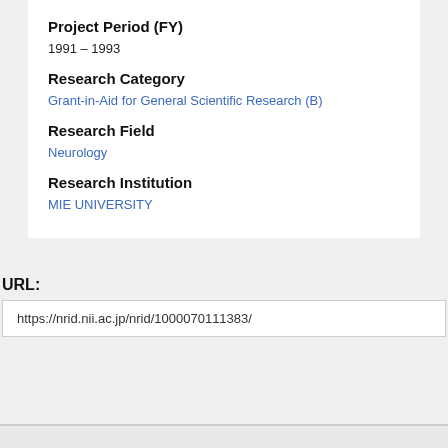Project Period (FY)
1991 – 1993
Research Category
Grant-in-Aid for General Scientific Research (B)
Research Field
Neurology
Research Institution
MIE UNIVERSITY
URL:
https://nrid.nii.ac.jp/nrid/1000070111383/